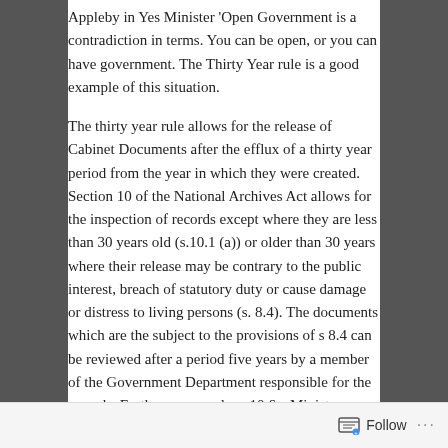Appleby in Yes Minister 'Open Government is a contradiction in terms. You can be open, or you can have government. The Thirty Year rule is a good example of this situation.
The thirty year rule allows for the release of Cabinet Documents after the efflux of a thirty year period from the year in which they were created. Section 10 of the National Archives Act allows for the inspection of records except where they are less than 30 years old (s.10.1 (a)) or older than 30 years where their release may be contrary to the public interest, breach of statutory duty or cause damage or distress to living persons (s. 8.4). The documents which are the subject to the provisions of s 8.4 can be reviewed after a period five years by a member of the Government Department responsible for the records. Furthermore, under s.10.6 a Minister, or member of Government, is entitled to grant access to departmental document prior to the elapse of this thirty year time period. This section was used in
Follow ···